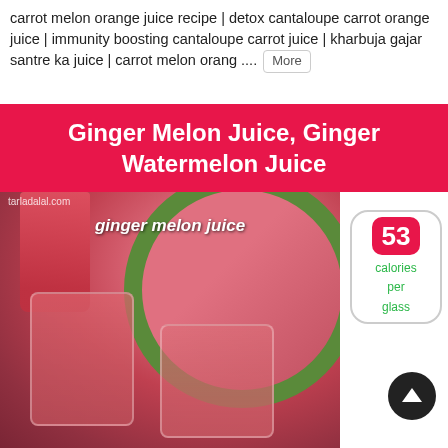carrot melon orange juice recipe | detox cantaloupe carrot orange juice | immunity boosting cantaloupe carrot juice | kharbuja gajar santre ka juice | carrot melon orang .... More
Ginger Melon Juice, Ginger Watermelon Juice
[Figure (photo): Photo of ginger melon juice in glasses and jars with watermelon slices and ginger root, labeled 'ginger melon juice']
53 calories per glass